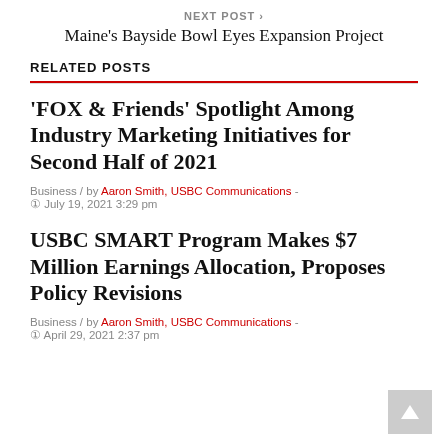NEXT POST ›
Maine's Bayside Bowl Eyes Expansion Project
RELATED POSTS
'FOX & Friends' Spotlight Among Industry Marketing Initiatives for Second Half of 2021
Business / by Aaron Smith, USBC Communications - July 19, 2021 3:29 pm
USBC SMART Program Makes $7 Million Earnings Allocation, Proposes Policy Revisions
Business / by Aaron Smith, USBC Communications - April 29, 2021 2:37 pm